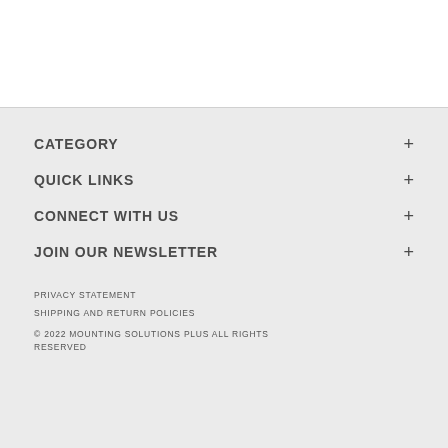CATEGORY +
QUICK LINKS +
CONNECT WITH US +
JOIN OUR NEWSLETTER +
PRIVACY STATEMENT
SHIPPING AND RETURN POLICIES
© 2022 MOUNTING SOLUTIONS PLUS ALL RIGHTS RESERVED